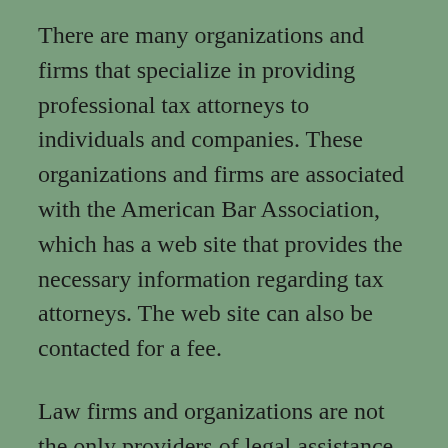There are many organizations and firms that specialize in providing professional tax attorneys to individuals and companies. These organizations and firms are associated with the American Bar Association, which has a web site that provides the necessary information regarding tax attorneys. The web site can also be contacted for a fee.
Law firms and organizations are not the only providers of legal assistance to individuals and businesses. Clients should also find it easy to find local tax attorneys through the local telephone directory. The yellow pages should have a list of lawyers specializing in taxation. Some phone directories display a listing of